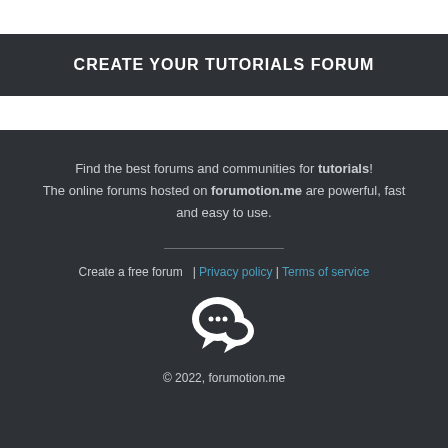CREATE YOUR TUTORIALS FORUM
Find the best forums and communities for tutorials! The online forums hosted on forumotion.me are powerful, fast and easy to use.
Create a free forum  | Privacy policy | Terms of service
[Figure (logo): Forumotion chat bubble logo icon in white]
© 2022, forumotion.me